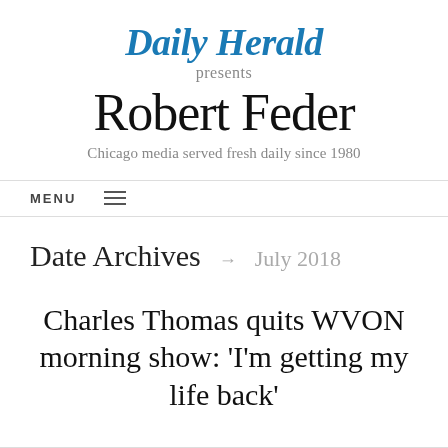Daily Herald presents
Robert Feder
Chicago media served fresh daily since 1980
MENU
Date Archives → July 2018
Charles Thomas quits WVON morning show: ‘I’m getting my life back’